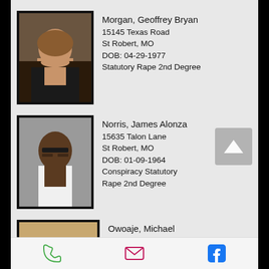[Figure (photo): Mugshot of Morgan, Geoffrey Bryan - white male with beard]
Morgan, Geoffrey Bryan
15145 Texas Road
St Robert, MO
DOB: 04-29-1977
Statutory Rape 2nd Degree
[Figure (photo): Mugshot of Norris, James Alonza - Black male wearing glasses]
Norris, James Alonza
15635 Talon Lane
St Robert, MO
DOB: 01-09-1964
Conspiracy Statutory Rape 2nd Degree
[Figure (photo): Mugshot of Owoaje, Michael - partially visible]
Owoaje, Michael
16831 Hunters Ridge Lane
Apt D
St Robert, MO